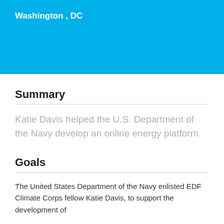Washington , DC
Summary
Katie Davis helped the U.S. Department of the Navy develop an online energy platform.
Goals
The United States Department of the Navy enlisted EDF Climate Corps fellow Katie Davis, to support the development of